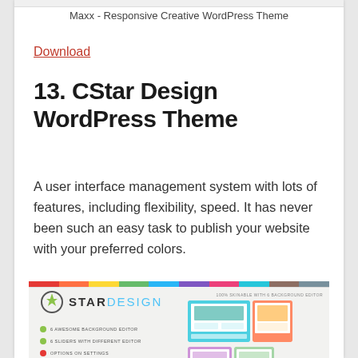Maxx - Responsive Creative WordPress Theme
Download
13. CStar Design WordPress Theme
A user interface management system with lots of features, including flexibility, speed. It has never been such an easy task to publish your website with your preferred colors.
[Figure (screenshot): CStar Design WordPress Theme promotional banner showing Star Design logo with green arrow icon on left panel with bullet points listing features (6 Awesome Background Editor, 6 Sliders with Different Editor), and multiple device/screen mockups on right panel with text '100% Skinable with 6 Background Editor'. Multi-color strip at top.]